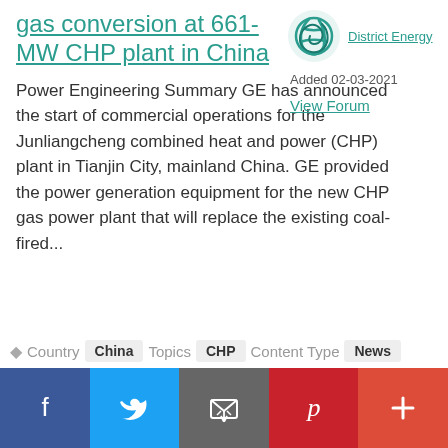gas conversion at 661-MW CHP plant in China
Power Engineering Summary GE has announced the start of commercial operations for the Junliangcheng combined heat and power (CHP) plant in Tianjin City, mainland China. GE provided the power generation equipment for the new CHP gas power plant that will replace the existing coal-fired...
[Figure (logo): District Energy logo - swirl/globe icon in teal]
District Energy
Added 02-03-2021
View Forum
Country  China  Topics  CHP  Content Type  News
[Figure (other): Social sharing bar with Facebook, Twitter, Email, Pinterest, and More buttons]